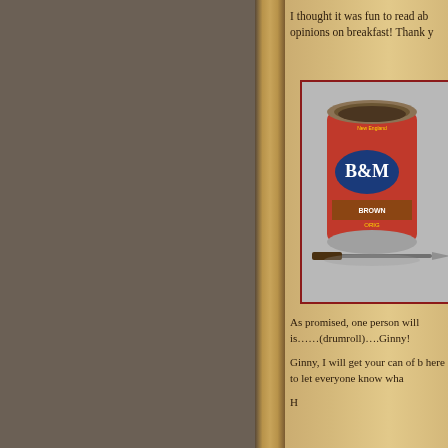I thought it was fun to read ab opinions on breakfast! Thank y
[Figure (photo): A can of B&M Brown Bread, Original recipe, open at the top showing baked bread inside. Red label with blue B&M logo visible. A knife is placed in front of the can.]
As promised, one person will is......(drumroll)....Ginny!
Ginny, I will get your can of b here to let everyone know wha